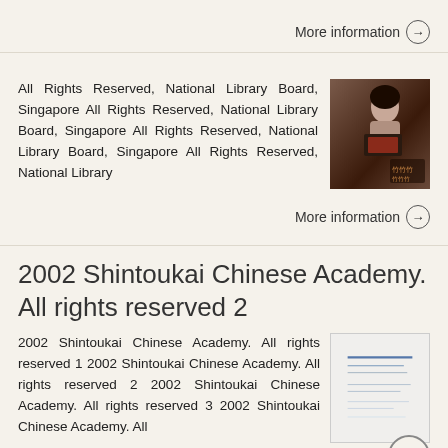More information →
All Rights Reserved, National Library Board, Singapore All Rights Reserved, National Library Board, Singapore All Rights Reserved, National Library Board, Singapore All Rights Reserved, National Library
[Figure (photo): A person reading or holding a book, dark background]
More information →
2002 Shintoukai Chinese Academy. All rights reserved 2
2002 Shintoukai Chinese Academy. All rights reserved 1 2002 Shintoukai Chinese Academy. All rights reserved 2 2002 Shintoukai Chinese Academy. All rights reserved 3 2002 Shintoukai Chinese Academy. All
[Figure (illustration): Document preview with blue horizontal lines]
More information →